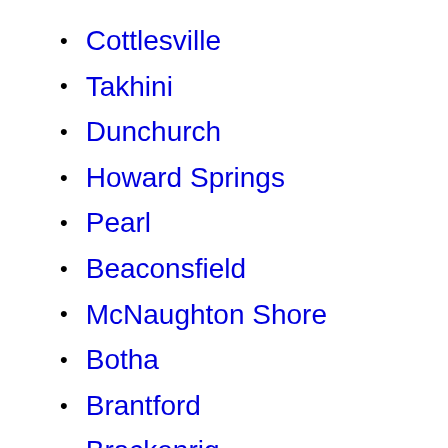Cottlesville
Takhini
Dunchurch
Howard Springs
Pearl
Beaconsfield
McNaughton Shore
Botha
Brantford
Brackenrig